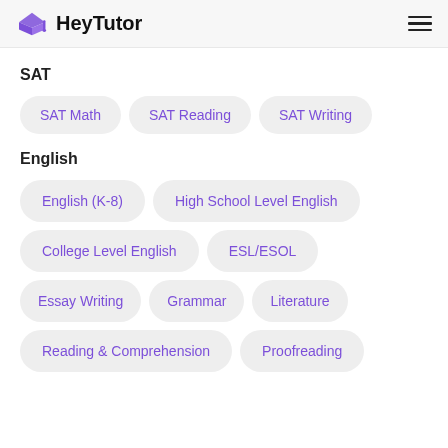HeyTutor
SAT
SAT Math
SAT Reading
SAT Writing
English
English (K-8)
High School Level English
College Level English
ESL/ESOL
Essay Writing
Grammar
Literature
Reading & Comprehension
Proofreading